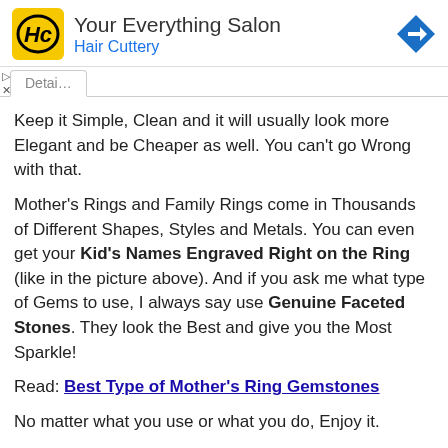[Figure (other): Hair Cuttery ad banner with logo, 'Your Everything Salon' title, 'Hair Cuttery' subtitle, and navigation arrow icon]
Keep it Simple, Clean and it will usually look more Elegant and be Cheaper as well. You can’t go Wrong with that.
Mother’s Rings and Family Rings come in Thousands of Different Shapes, Styles and Metals. You can even get your Kid’s Names Engraved Right on the Ring (like in the picture above). And if you ask me what type of Gems to use, I always say use Genuine Faceted Stones. They look the Best and give you the Most Sparkle!
Read: Best Type of Mother’s Ring Gemstones
No matter what you use or what you do, Enjoy it.